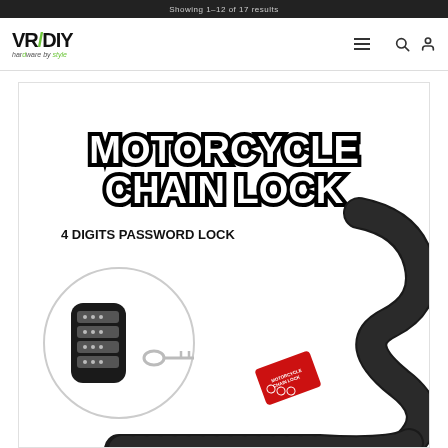Showing 1–12 of 17 results
[Figure (logo): VR DIY Hardware by Style logo — bold text with green slash and italic tagline]
[Figure (photo): Motorcycle chain lock product image showing a combination chain lock with '4 Digits Password Lock' label and a close-up inset of the dial mechanism with a key]